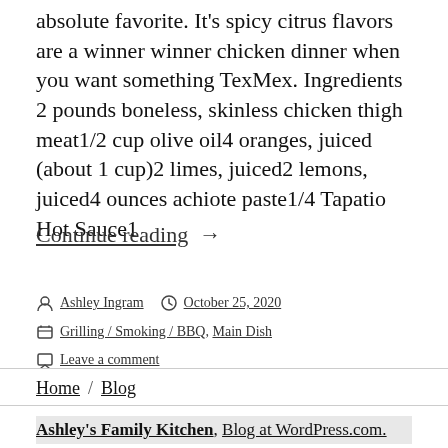absolute favorite. It's spicy citrus flavors are a winner winner chicken dinner when you want something TexMex. Ingredients 2 pounds boneless, skinless chicken thigh meat1/2 cup olive oil4 oranges, juiced (about 1 cup)2 limes, juiced2 lemons, juiced4 ounces achiote paste1/4 Tapatio Hot Sauce1
Continue reading →
Posted by Ashley Ingram  October 25, 2020  Categories: Grilling / Smoking / BBQ, Main Dish  Leave a comment
Home / Blog
Ashley's Family Kitchen, Blog at WordPress.com.